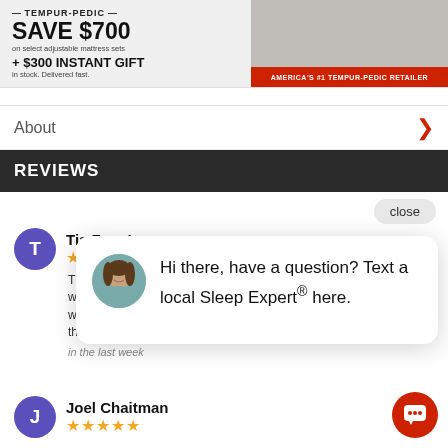[Figure (photo): Tempur-Pedic advertisement banner: SAVE $700 on select adjustable mattress sets + $300 INSTANT GIFT in stock. Delivered fast. America's #1 Tempur-Pedic Retailer.]
About
REVIEWS
close
Tia Fuen
★★★★★
Thank you... were drea... was know... the process easy. We highly recommend this st...er.
in the last week
[Figure (illustration): Chat popup with female avatar photo and text: Hi there, have a question? Text a local Sleep Expert® here.]
Joel Chaitman
★★★★★